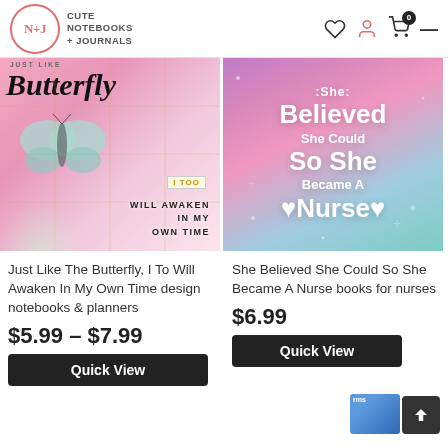CUTE NOTEBOOKS + JOURNALS
[Figure (photo): Butterfly notebook cover with pink background, butterfly illustration, text 'Just Like The Butterfly I Too Will Awaken In My Own Time']
[Figure (photo): Nurse notebook cover with pink-purple-teal gradient, white text 'She Believed She Could So She Became A Nurse']
Just Like The Butterfly, I To Will Awaken In My Own Time design notebooks & planners
$5.99 – $7.99
Quick View
She Believed She Could So She Became A Nurse books for nurses
$6.99
Quick View